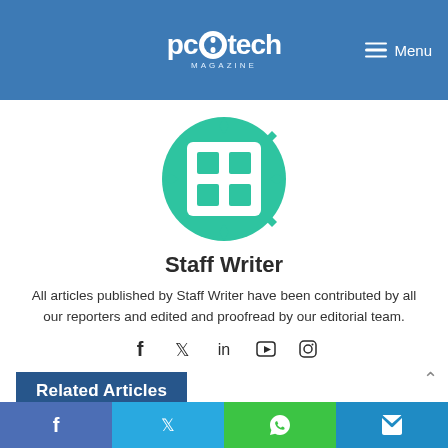PC Tech Magazine — Menu
[Figure (logo): PC Tech Magazine circular grid logo in teal/green]
Staff Writer
All articles published by Staff Writer have been contributed by all our reporters and edited and proofread by our editorial team.
[Figure (infographic): Social media icons: Facebook, Twitter, LinkedIn, YouTube, Instagram]
Related Articles
[Figure (photo): Photo of Sony Launched New]
[Figure (photo): Photo of Six things you need to]